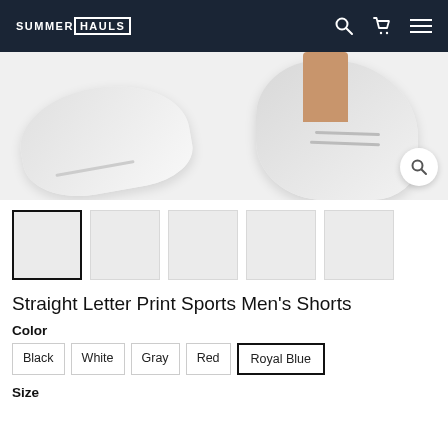SUMMERHAULS
[Figure (photo): Close-up photo of white sneakers/shoes on a light background with a search magnifier icon overlay in the bottom right]
[Figure (photo): Row of 5 product image thumbnails, first one selected with black border]
Straight Letter Print Sports Men's Shorts
Color
Black
White
Gray
Red
Royal Blue
Size